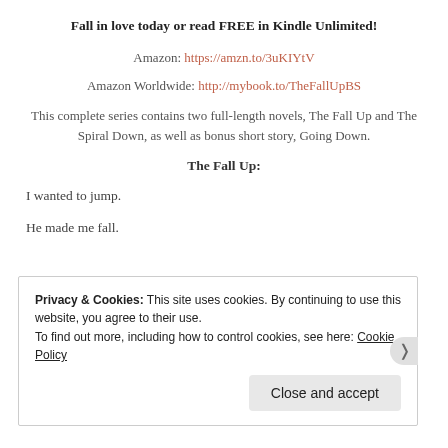Fall in love today or read FREE in Kindle Unlimited!
Amazon: https://amzn.to/3uKIYtV
Amazon Worldwide: http://mybook.to/TheFallUpBS
This complete series contains two full-length novels, The Fall Up and The Spiral Down, as well as bonus short story, Going Down.
The Fall Up:
I wanted to jump.
He made me fall.
Privacy & Cookies: This site uses cookies. By continuing to use this website, you agree to their use.
To find out more, including how to control cookies, see here: Cookie Policy
Close and accept